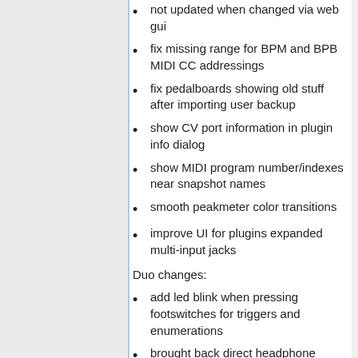not updated when changed via web gui
fix missing range for BPM and BPB MIDI CC addressings
fix pedalboards showing old stuff after importing user backup
show CV port information in plugin info dialog
show MIDI program number/indexes near snapshot names
smooth peakmeter color transitions
improve UI for plugins expanded multi-input jacks
Duo changes:
add led blink when pressing footswitches for triggers and enumerations
brought back direct headphone monitoring option
don't show cpu stats on the Duo, not